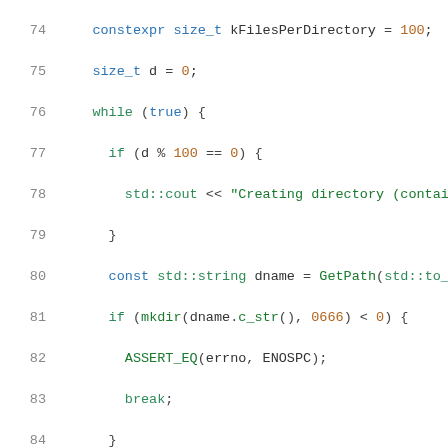[Figure (screenshot): C++ source code snippet showing lines 74-95, syntax highlighted. Keywords and flow control in teal/blue, strings in dark green, numbers/values in orange-brown, identifiers in dark. Code shows a loop creating directories and files, asserting ENOSPC on failure.]